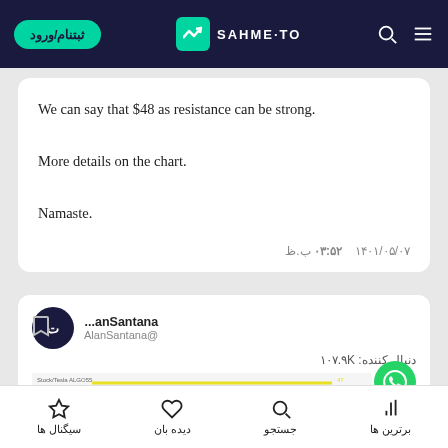ثبتنام/ورود | SAHME-TO
We can say that $48 as resistance can be strong.

More details on the chart.

Namaste.
ب.ظ ۰۳:۵۲   ۱۴۰۱/۰۵/۰۷
anSantana... @AlanSantana
دنبال کننده: ۱۰۷.۹K
[Figure (screenshot): Chart preview showing a stock/price chart with a yellow horizontal resistance line]
سیگنال ها | دیده بان | جستجو | برترین ها